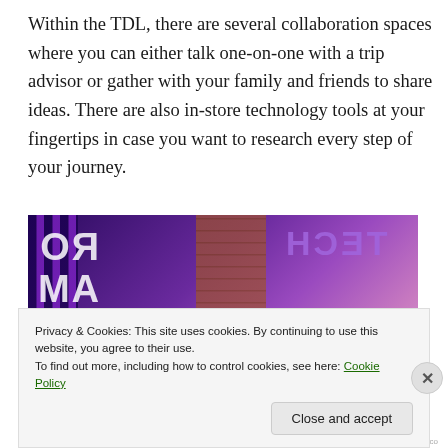Within the TDL, there are several collaboration spaces where you can either talk one-on-one with a trip advisor or gather with your family and friends to share ideas. There are also in-store technology tools at your fingertips in case you want to research every step of your journey.
[Figure (photo): Interior photo of the TDL store showing glass windows with reflected signage including 'ROAM' and 'TECH' text visible in purple neon lighting, brick column visible in center, purple and pink lighting throughout]
Privacy & Cookies: This site uses cookies. By continuing to use this website, you agree to their use.
To find out more, including how to control cookies, see here: Cookie Policy
Close and accept